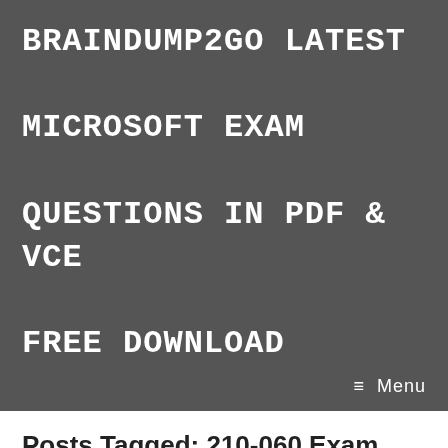BRAINDUMP2GO LATEST MICROSOFT EXAM QUESTIONS IN PDF & VCE FREE DOWNLOAD
≡  Menu
Posts Tagged: 210-060 Exam Questions
[Sep-2019]Real Exam